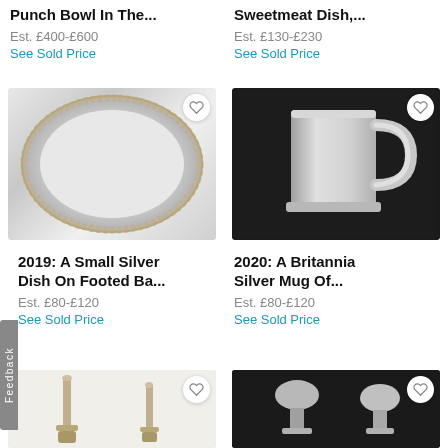Punch Bowl In The...
Sweetmeat Dish,...
Est. £400-£600
Est. £130-£230
See Sold Price
See Sold Price
[Figure (photo): Silver decorative dish on footed base, circular with ornate embossed border]
[Figure (photo): Britannia silver mug with handle, on dark background]
2019: A Small Silver Dish On Footed Ba...
2020: A Britannia Silver Mug Of...
Est. £80-£120
Est. £80-£120
See Sold Price
See Sold Price
[Figure (photo): Two silver candlesticks on white background]
[Figure (photo): Two silver trophy/vase items on dark background]